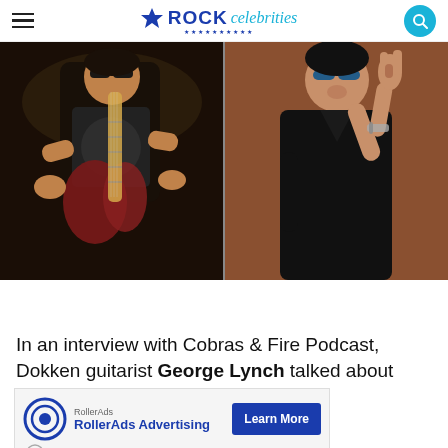ROCK celebrities
[Figure (photo): Two side-by-side photos: left shows a guitarist (George Lynch of Dokken) playing a red electric guitar, wearing sunglasses and a graphic t-shirt; right shows Gene Simmons of KISS making the devil horns gesture, wearing all black, with sunglasses.]
In an interview with Cobras & Fire Podcast, Dokken guitarist George Lynch talked about the e... mem... KISS
[Figure (infographic): RollerAds advertisement banner with circular logo, 'RollerAds Advertising' text, and 'Learn More' blue button.]